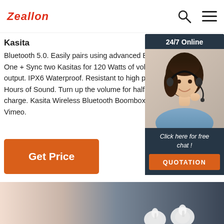Zeallon
Kasita
Bluetooth 5.0. Easily pairs using advanced Bluetooth capability. One + One = 360°. Sync two Kasitas for 120 Watts of volume output. IPX6 Waterproof. Resistant to high pressure. Hours of Sound. Turn up the volume for half a day charge. Kasita Wireless Bluetooth Boombox from Vimeo.
[Figure (photo): Orange 'Get Price' button]
[Figure (photo): 24/7 Online chat widget with woman wearing headset, 'Click here for free chat!' text, and orange QUOTATION button]
[Figure (photo): Bottom product image showing white wireless earbuds against gradient background from peach to dark navy]